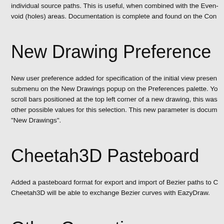individual source paths. This is useful, when combined with the Even-void (holes) areas. Documentation is complete and found on the Con
New Drawing Preference
New user preference added for specification of the initial view presen submenu on the New Drawings popup on the Preferences palette. Yo scroll bars positioned at the top left corner of a new drawing, this was other possible values for this selection. This new parameter is docum "New Drawings".
Cheetah3D Pasteboard
Added a pasteboard format for export and import of Bezier paths to C Cheetah3D will be able to exchange Bezier curves with EazyDraw.
Other Corrections
Corrected several issues related to changing font family when the nev the text or a portion of the text. Now if a portion of the text cannot be n posted and the characters that do not map remain with the previous f